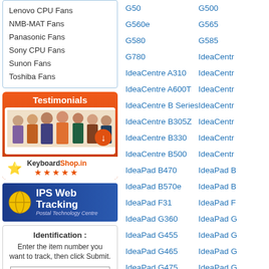Lenovo CPU Fans
NMB-MAT Fans
Panasonic Fans
Sony CPU Fans
Sunon Fans
Toshiba Fans
[Figure (screenshot): Testimonials banner with KeyboardShop.in logo, group of people photo, orange download button, star rating]
[Figure (logo): IPS Web Tracking - Postal Technology Centre banner with yellow ball logo on blue background]
Identification : Enter the item number you want to track, then click Submit.
G50
G500
G560e
G565
G580
G585
G780
IdeaCentre A310
IdeaCentre A600T
IdeaCentre B Series
IdeaCentre B305Z
IdeaCentre B330
IdeaCentre B500
IdeaPad B470
IdeaPad B570e
IdeaPad F31
IdeaPad G360
IdeaPad G455
IdeaPad G465
IdeaPad G475
IdeaPad G550
IdeaPad G565
IdeaPad G575GX